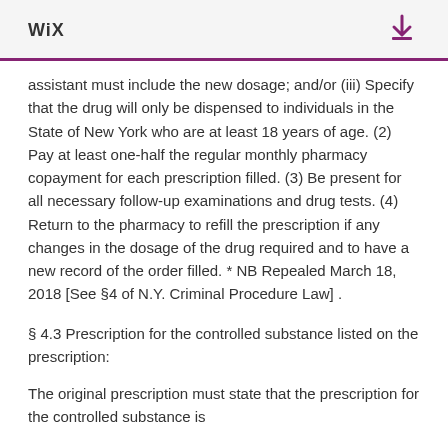WiX
assistant must include the new dosage; and/or (iii) Specify that the drug will only be dispensed to individuals in the State of New York who are at least 18 years of age. (2) Pay at least one-half the regular monthly pharmacy copayment for each prescription filled. (3) Be present for all necessary follow-up examinations and drug tests. (4) Return to the pharmacy to refill the prescription if any changes in the dosage of the drug required and to have a new record of the order filled. * NB Repealed March 18, 2018 [See §4 of N.Y. Criminal Procedure Law] .
§ 4.3 Prescription for the controlled substance listed on the prescription:
The original prescription must state that the prescription for the controlled substance is